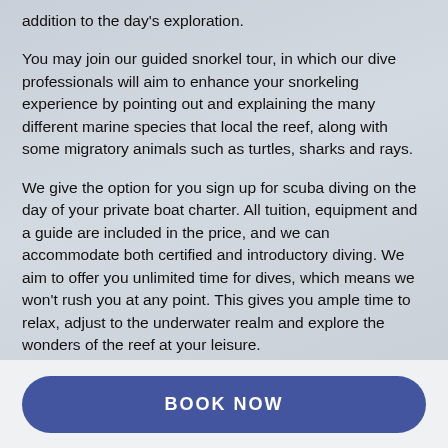addition to the day's exploration.
You may join our guided snorkel tour, in which our dive professionals will aim to enhance your snorkeling experience by pointing out and explaining the many different marine species that local the reef, along with some migratory animals such as turtles, sharks and rays.
We give the option for you sign up for scuba diving on the day of your private boat charter. All tuition, equipment and a guide are included in the price, and we can accommodate both certified and introductory diving. We aim to offer you unlimited time for dives, which means we won't rush you at any point. This gives you ample time to relax, adjust to the underwater realm and explore the wonders of the reef at your leisure.
BOOK NOW